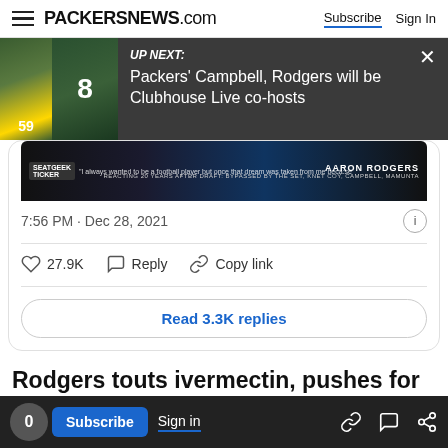PACKERSNEWS.com — Subscribe | Sign In
[Figure (screenshot): UP NEXT banner overlay showing two Green Bay Packers players (jersey #59 and #8) with text: UP NEXT: Packers' Campbell, Rodgers will be Clubhouse Live co-hosts]
[Figure (screenshot): Twitter/X embed showing a tweet with Aaron Rodgers image, timestamp 7:56 PM · Dec 28, 2021, 27.9K likes, Reply and Copy link actions, and a Read 3.3K replies button]
Rodgers touts ivermectin, pushes for alternative treatments
information from podcast host and comedian Joe